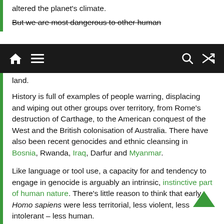altered the planet's climate.
But we are most dangerous to other human [land.]
[Figure (screenshot): Navigation bar with home icon, hamburger menu icon on the left, and search icon, shuffle icon on the right, on a dark background.]
land.
History is full of examples of people warring, displacing and wiping out other groups over territory, from Rome's destruction of Carthage, to the American conquest of the West and the British colonisation of Australia. There have also been recent genocides and ethnic cleansing in Bosnia, Rwanda, Iraq, Darfur and Myanmar.
Like language or tool use, a capacity for and tendency to engage in genocide is arguably an intrinsic, instinctive part of human nature. There's little reason to think that early Homo sapiens were less territorial, less violent, less intolerant – less human.